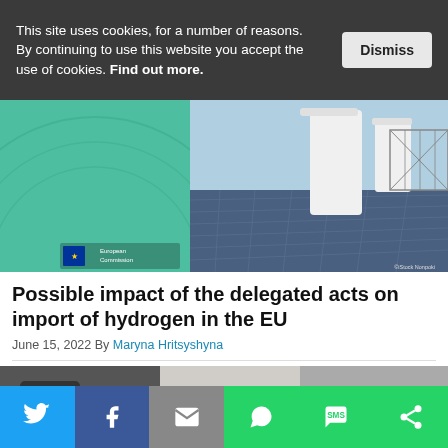This site uses cookies, for a number of reasons. By continuing to use this website you accept the use of cookies. Find out more.
[Figure (screenshot): European Commission hydrogen/solar energy facility header image with teal graphic overlay and EU logo]
Possible impact of the delegated acts on import of hydrogen in the EU
June 15, 2022 By Maryna Hritsyshyna
[Figure (photo): Partial second article image strip]
[Figure (infographic): Social sharing bar with Twitter, Facebook, Email, WhatsApp, SMS, and Share buttons]